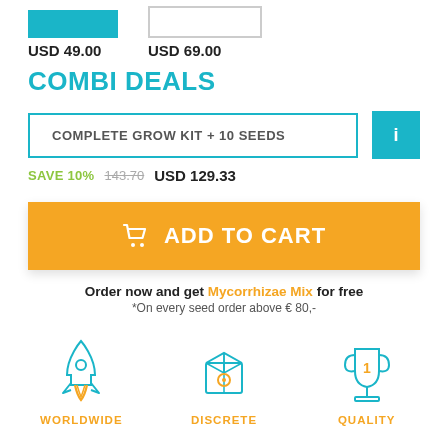USD 49.00   USD 69.00
COMBI DEALS
COMPLETE GROW KIT + 10 SEEDS
SAVE 10%   143.70   USD 129.33
ADD TO CART
Order now and get Mycorrhizae Mix for free
*On every seed order above € 80,-
[Figure (illustration): Three icons: rocket (WORLDWIDE), package box (DISCRETE), trophy (QUALITY)]